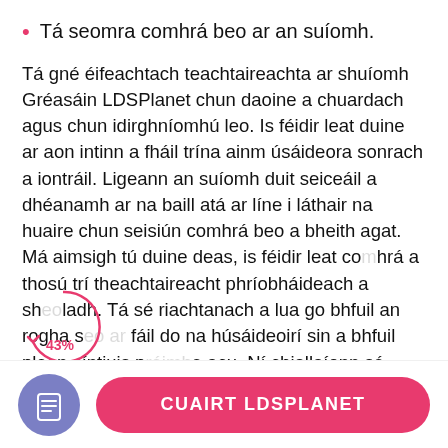Tá seomra comhrá beo ar an suíomh.
Tá gné éifeachtach teachtaireachta ar shuíomh Gréasáin LDSPlanet chun daoine a chuardach agus chun idirghníomhú leo. Is féidir leat duine ar aon intinn a fháil trína ainm úsáideora sonrach a iontráil. Ligeann an suíomh duit seiceáil a dhéanamh ar na baill atá ar líne i láthair na huaire chun seisiún comhrá beo a bheith agat. Má aimsigh tú duine deas, is féidir leat comhrá a thosú trí theachtaireacht phríobháideach a sheoladh. Tá sé riachtanach a lua go bhfuil an rogha seo ar fáil do na húsáideoirí sin a bhfuil plean síntiuis préimhe acu. Ní chiallaíonn sé, áfach, nach féidir le húsáideoirí caighdeánacha gnéithe teachtaireachtaí a
[Figure (other): Annotation overlay showing a partial circle with 43% label in red/pink]
CUAIRT LDSPLANET